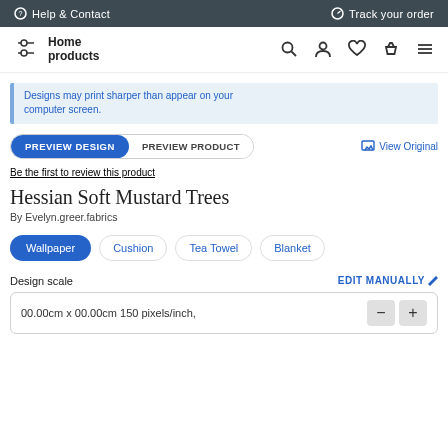Help & Contact   Track your order
[Figure (logo): Home products logo with navigation icons]
Designs may print sharper than appear on your computer screen.
PREVIEW DESIGN   PREVIEW PRODUCT   View Original
Be the first to review this product
Hessian Soft Mustard Trees
By Evelyn.greer.fabrics
Wallpaper   Cushion   Tea Towel   Blanket
Design scale   EDIT MANUALLY
00.00cm x 00.00cm 150 pixels/inch,